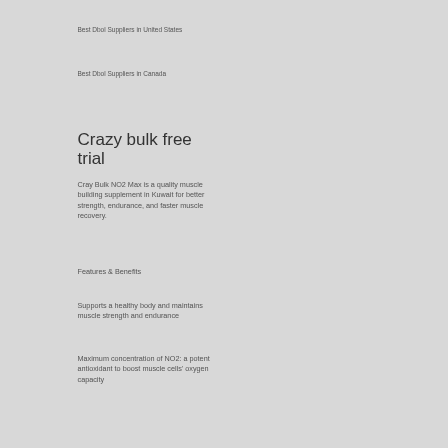Best Dbol Suppliers in United States
Best Dbol Suppliers in Canada
Crazy bulk free trial
Cray Bulk NO2 Max is a quality muscle building supplement in Kuwait for better strength, endurance, and faster muscle recovery.
Features & Benefits
Supports a healthy body and maintains muscle strength and endurance
Maximum concentration of NO2: a potent antioxidant to boost muscle cells' oxygen capacity